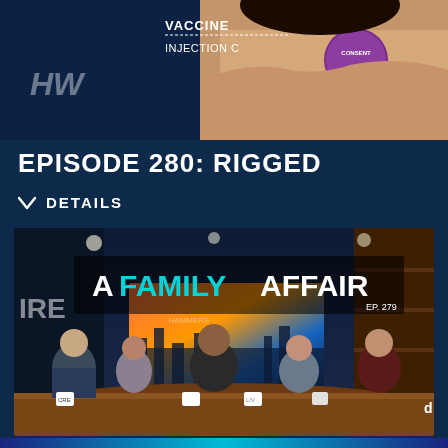[Figure (photo): Top portion of a TV show promotional image showing a person wearing a purple consent badge and text 'VACCINE INJECTION' with HW logo watermark on dark blue background]
EPISODE 280: RIGGED
DETAILS
[Figure (photo): TV show panel image titled 'A FAMILY AFFAIR EP. 279' showing five panelists seated at a wooden desk in a studio setting with city skyline backdrop]